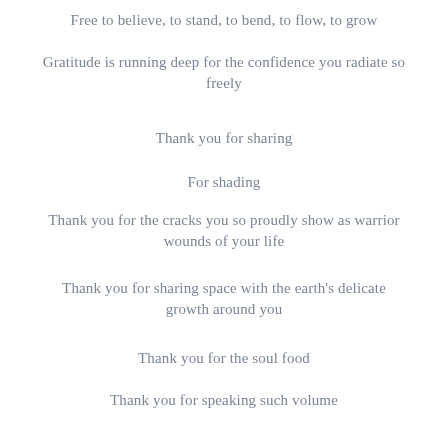Free to believe, to stand, to bend, to flow, to grow
Gratitude is running deep for the confidence you radiate so freely
Thank you for sharing
For shading
Thank you for the cracks you so proudly show as warrior wounds of your life
Thank you for sharing space with the earth's delicate growth around you
Thank you for the soul food
Thank you for speaking such volume